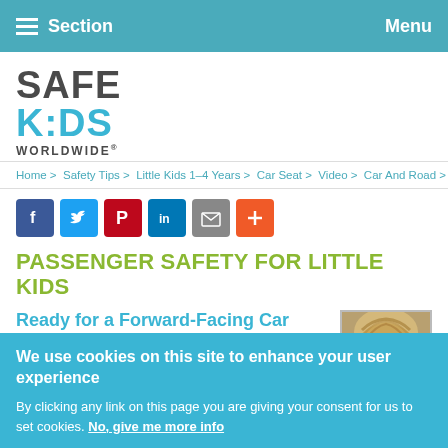Section   Menu
[Figure (logo): Safe Kids Worldwide logo — SAFE in dark gray, KIDS in teal/blue with dots as the 'i', WORLDWIDE below in dark gray]
Home > Safety Tips > Little Kids 1–4 Years > Car Seat > Video > Car And Road >
[Figure (infographic): Social sharing buttons: Facebook, Twitter, Pinterest, LinkedIn, Email, Plus]
PASSENGER SAFETY FOR LITTLE KIDS
Ready for a Forward-Facing Car Seat?
[Figure (photo): Photo of a child seen from above, showing top of head with light brown/blonde hair]
We use cookies on this site to enhance your user experience
By clicking any link on this page you are giving your consent for us to set cookies. No, give me more info